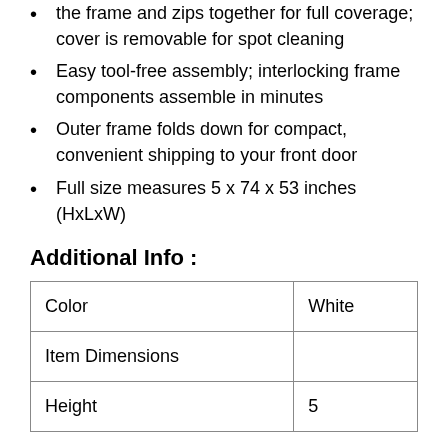the frame and zips together for full coverage; cover is removable for spot cleaning
Easy tool-free assembly; interlocking frame components assemble in minutes
Outer frame folds down for compact, convenient shipping to your front door
Full size measures 5 x 74 x 53 inches (HxLxW)
Additional Info :
| Color | White |
| Item Dimensions |  |
| Height | 5 |